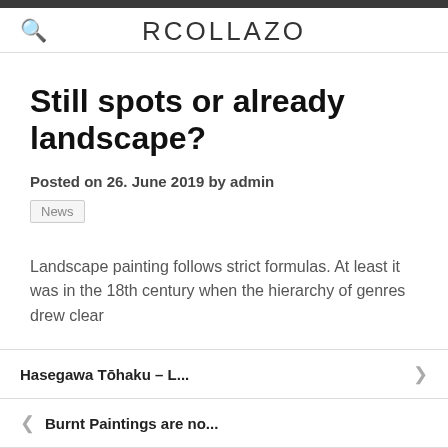RCOLLAZO
Still spots or already landscape?
Posted on 26. June 2019 by admin
News
Landscape painting follows strict formulas. At least it was in the 18th century when the hierarchy of genres drew clear
Hasegawa Tōhaku – L...
Burnt Paintings are no...